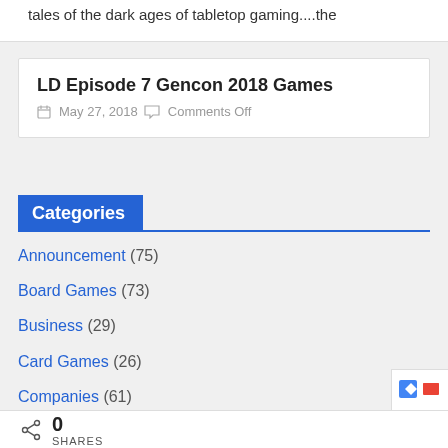tales of the dark ages of tabletop gaming....the
LD Episode 7 Gencon 2018 Games
May 27, 2018   Comments Off
Categories
Announcement (75)
Board Games (73)
Business (29)
Card Games (26)
Companies (61)
Conventions (157)
0 SHARES